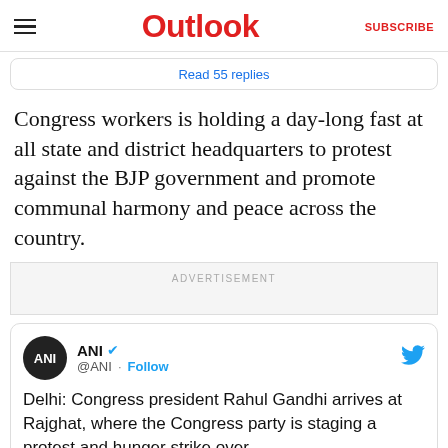Outlook | SUBSCRIBE
Read 55 replies
Congress workers is holding a day-long fast at all state and district headquarters to protest against the BJP government and promote communal harmony and peace across the country.
ADVERTISEMENT
[Figure (screenshot): Embedded tweet from ANI (@ANI) with verified badge and Follow button. Tweet text: Delhi: Congress president Rahul Gandhi arrives at Rajghat, where the Congress party is staging a protest and hunger strike over]